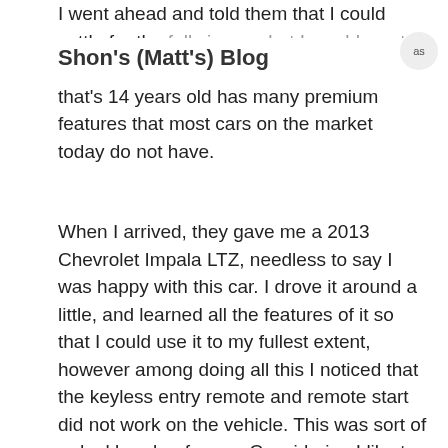Shon's (Matt's) Blog
I went ahead and told them that I could settle for the full size car but I would want it to be fully loaded, as my current car that's 14 years old has many premium features that most cars on the market today do not have.
When I arrived, they gave me a 2013 Chevrolet Impala LTZ, needless to say I was happy with this car. I drove it around a little, and learned all the features of it so that I could use it to my fullest extent, however among doing all this I noticed that the keyless entry remote and remote start did not work on the vehicle. This was sort of a deal breaker for me. Considering I like to lock the car up when I am not in it, and using a key is so 1990's
I took the vehicle back to where got it, and told the rental agent that I would be glad to keep the car, but if at all possible could we get this keyless entry fixed.
I was instructed that if we ordered a new button...